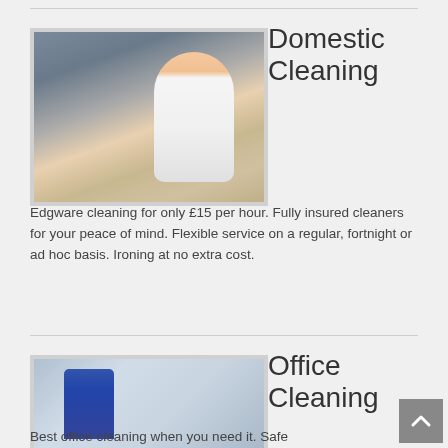[Figure (photo): Woman smiling in kitchen washing dishes with pink rubber gloves]
Domestic Cleaning
Edgware cleaning for only £15 per hour. Fully insured cleaners for your peace of mind. Flexible service on a regular, fortnight or ad hoc basis. Ironing at no extra cost.
[Figure (photo): Office cleaner in blue uniform with cleaning cart in a corridor]
Office Cleaning
Best office cleaning when you need it. Safe